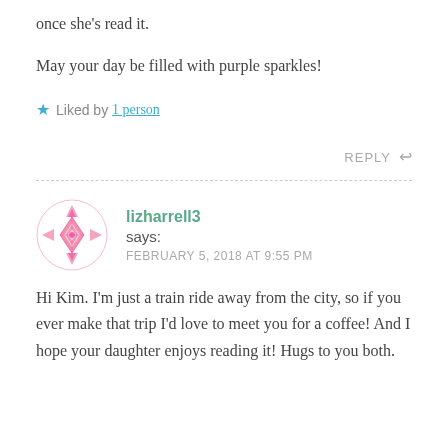once she's read it.
May your day be filled with purple sparkles!
★ Liked by 1 person
REPLY ↩
lizharrell3 says: FEBRUARY 5, 2018 AT 9:55 PM
Hi Kim. I'm just a train ride away from the city, so if you ever make that trip I'd love to meet you for a coffee! And I hope your daughter enjoys reading it! Hugs to you both.